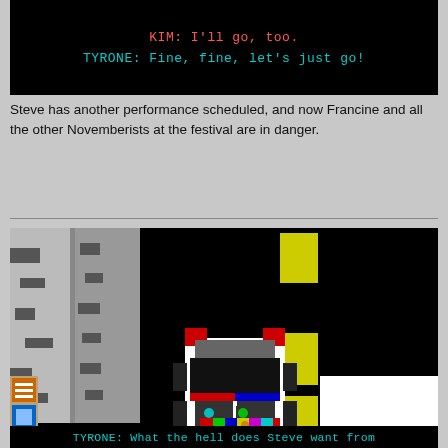[Figure (screenshot): Black background game dialogue screenshot showing KIM: I'll go, too. in red monospace text and TYRONE: Fine, fine, let's just go! in cyan monospace text]
Steve has another performance scheduled, and now Francine and all the other Novemberists at the festival are in danger.
[Figure (screenshot): Pixel art retro game scene with black background, gray dotted terrain on left side, a pixel art robot/character in center with red, white, black, blue, green, yellow, pink colors, yellow rectangular blocks on right side, and a white block in bottom right corner]
TYRONE: What the hell does Steve want from